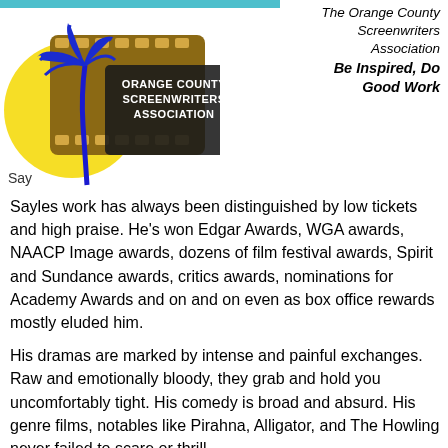[Figure (logo): Orange County Screenwriters Association logo with palm tree silhouette and film reel]
The Orange County Screenwriters Association
Be Inspired, Do Good Work
Sayles work has always been distinguished by low tickets and high praise. He's won Edgar Awards, WGA awards, NAACP Image awards, dozens of film festival awards, Spirit and Sundance awards, critics awards, nominations for Academy Awards and on and on even as box office rewards mostly eluded him.
His dramas are marked by intense and painful exchanges. Raw and emotionally bloody, they grab and hold you uncomfortably tight. His comedy is broad and absurd. His genre films, notables like Pirahna, Alligator, and The Howling never failed to scare or thrill.
The exception proving the rule, Sayles was a writer on Battle Beyond the Stars widely named as one of Corman's